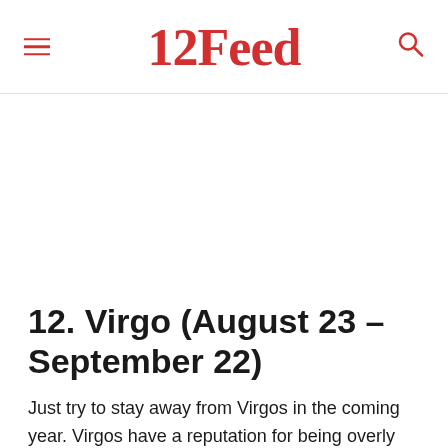12Feed
12. Virgo (August 23 – September 22)
Just try to stay away from Virgos in the coming year. Virgos have a reputation for being overly anal about everything. Sometimes, they can hold people to...